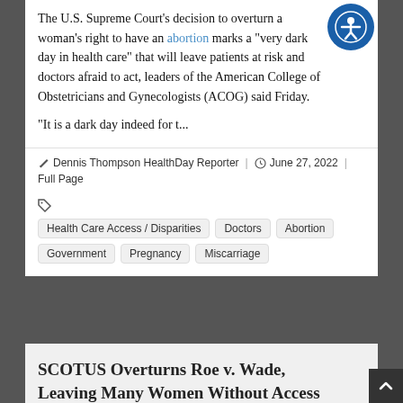The U.S. Supreme Court's decision to overturn a woman's right to have an abortion marks a "very dark day in health care" that will leave patients at risk and doctors afraid to act, leaders of the American College of Obstetricians and Gynecologists (ACOG) said Friday.
"It is a dark day indeed for t...
Dennis Thompson HealthDay Reporter | June 27, 2022 | Full Page
Health Care Access / Disparities | Doctors | Abortion | Government | Pregnancy | Miscarriage
SCOTUS Overturns Roe v. Wade, Leaving Many Women Without Access to Abortion